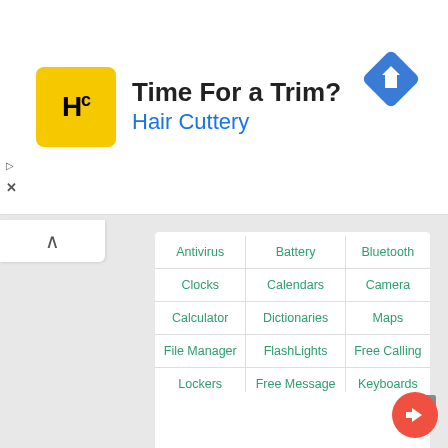[Figure (screenshot): Ad banner with Hair Cuttery logo. Yellow square logo with HC monogram, bold text 'Time For a Trim?' and blue 'Hair Cuttery' subtitle. Blue diamond navigation icon top right. Small play and X controls on left.]
| Col1 | Col2 | Col3 |
| --- | --- | --- |
| Antivirus | Battery | Bluetooth |
| Clocks | Calendars | Camera |
| Calculator | Dictionaries | Maps |
| File Manager | FlashLights | Free Calling |
| Lockers | Free Message | Keyboards |
| Multimedia | Notes | Tools |
| Browsers | Notification | Wi-Fi |
[Figure (screenshot): Bottom ad panel with X close button (gray square) and red circular share/reply FAB button in bottom right corner.]